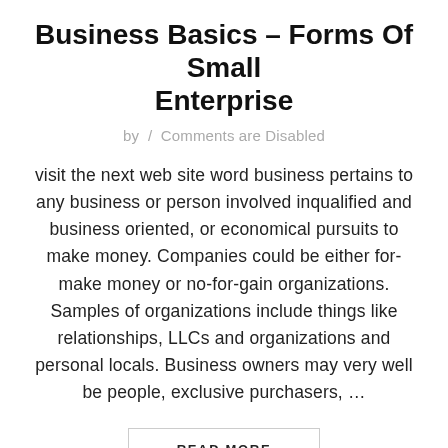Business Basics – Forms Of Small Enterprise
by  /  Comments are Disabled
visit the next web site word business pertains to any business or person involved inqualified and business oriented, or economical pursuits to make money. Companies could be either for-make money or no-for-gain organizations. Samples of organizations include things like relationships, LLCs and organizations and personal locals. Business owners may very well be people, exclusive purchasers, …
READ MORE